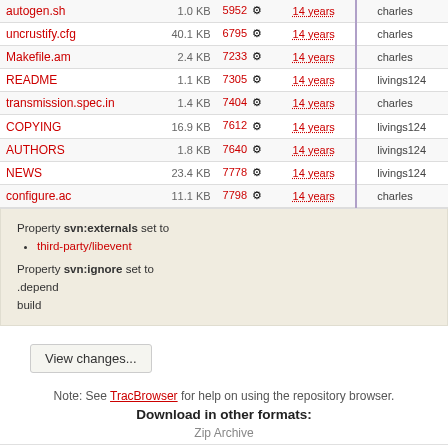| Name | Size | Rev | Age | Author |
| --- | --- | --- | --- | --- |
| autogen.sh | 1.0 KB | 5952 | 14 years | charles |
| uncrustify.cfg | 40.1 KB | 6795 | 14 years | charles |
| Makefile.am | 2.4 KB | 7233 | 14 years | charles |
| README | 1.1 KB | 7305 | 14 years | livings124 |
| transmission.spec.in | 1.4 KB | 7404 | 14 years | charles |
| COPYING | 16.9 KB | 7612 | 14 years | livings124 |
| AUTHORS | 1.8 KB | 7640 | 14 years | livings124 |
| NEWS | 23.4 KB | 7778 | 14 years | livings124 |
| configure.ac | 11.1 KB | 7798 | 14 years | charles |
Property svn:externals set to
  third-party/libevent
Property svn:ignore set to
.depend
build
View changes...
Note: See TracBrowser for help on using the repository browser.
Download in other formats:
Zip Archive
Powered by Trac 1.0.9 By Edgewall Software. Visit the Trac open source project at http://trac.edgewall.com/